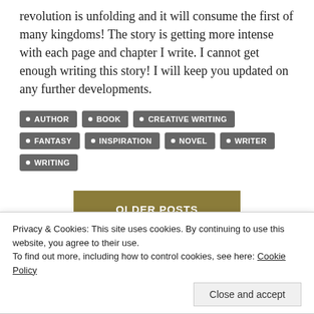revolution is unfolding and it will consume the first of many kingdoms! The story is getting more intense with each page and chapter I write. I cannot get enough writing this story! I will keep you updated on any further developments.
AUTHOR
BOOK
CREATIVE WRITING
FANTASY
INSPIRATION
NOVEL
WRITER
WRITING
OLDER POSTS
Privacy & Cookies: This site uses cookies. By continuing to use this website, you agree to their use. To find out more, including how to control cookies, see here: Cookie Policy
Close and accept